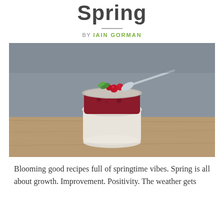Spring
BY IAIN GORMAN
[Figure (photo): A glass jar dessert with white panna cotta base topped with dark berry compote and red berries with a mint leaf, a spoon resting in it, placed on a wooden surface against a grey background.]
Blooming good recipes full of springtime vibes. Spring is all about growth. Improvement. Positivity. The weather gets